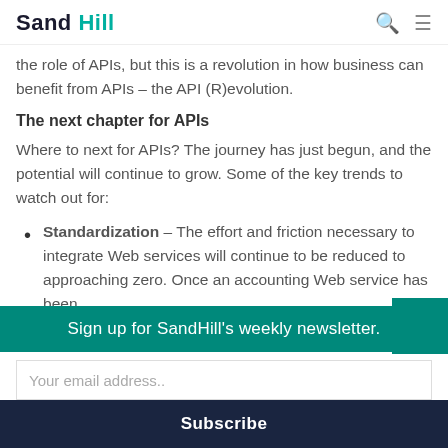Sand Hill
the role of APIs, but this is a revolution in how business can benefit from APIs – the API (R)evolution.
The next chapter for APIs
Where to next for APIs? The journey has just begun, and the potential will continue to grow. Some of the key trends to watch out for:
Standardization – The effort and friction necessary to integrate Web services will continue to be reduced to approaching zero. Once an accounting Web service has been
Sign up for SandHill's weekly newsletter.
Your email address..
Subscribe